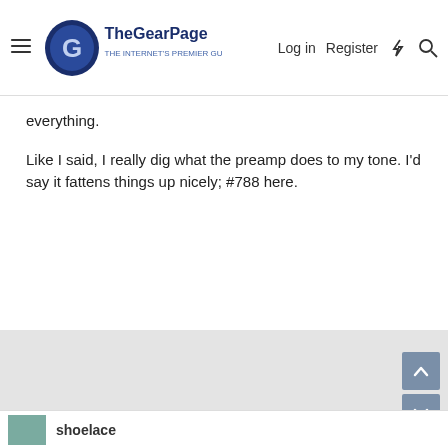The Gear Page — Log in | Register
everything.
Like I said, I really dig what the preamp does to my tone. I'd say it fattens things up nicely; #788 here.
[Figure (other): Gray content/ad placeholder area]
shoelace